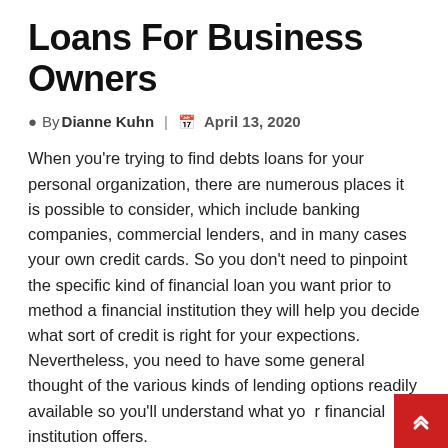Loans For Business Owners
By Dianne Kuhn  |  April 13, 2020
When you're trying to find debts loans for your personal organization, there are numerous places it is possible to consider, which include banking companies, commercial lenders, and in many cases your own credit cards. So you don't need to pinpoint the specific kind of financial loan you want prior to method a financial institution they will help you decide what sort of credit is right for your expections. Nevertheless, you need to have some general thought of the various kinds of lending options readily available so you'll understand what your financial institution offers.